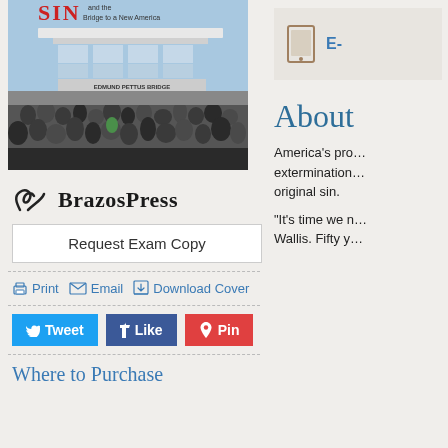[Figure (photo): Book cover image showing Edmund Pettus Bridge with a crowd gathered, title text 'SIN' and 'Bridge to a New America' visible in red and dark text at top]
[Figure (logo): BrazosPress logo with stylized icon and bold serif text 'BrazosPress']
Request Exam Copy
Print   Email   Download Cover
Tweet   Like   Pin
Where to Purchase
[Figure (other): E-book icon (tablet/reader icon) with label 'E-' partially visible]
About
America's pro... extermination... original sin.
"It's time we n... Wallis. Fifty y...